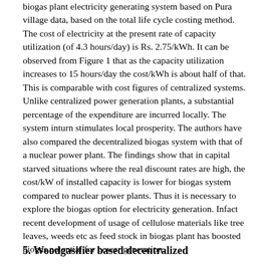biogas plant electricity generating system based on Pura village data, based on the total life cycle costing method. The cost of electricity at the present rate of capacity utilization (of 4.3 hours/day) is Rs. 2.75/kWh. It can be observed from Figure 1 that as the capacity utilization increases to 15 hours/day the cost/kWh is about half of that. This is comparable with cost figures of centralized systems. Unlike centralized power generation plants, a substantial percentage of the expenditure are incurred locally. The system inturn stimulates local prosperity. The authors have also compared the decentralized biogas system with that of a nuclear power plant. The findings show that in capital starved situations where the real discount rates are high, the cost/kW of installed capacity is lower for biogas system compared to nuclear power plants. Thus it is necessary to explore the biogas option for electricity generation. Infact recent development of usage of cellulose materials like tree leaves, weeds etc as feed stock in biogas plant has boosted biogas potential for power generation.
5. Woodgasifier based decentralized